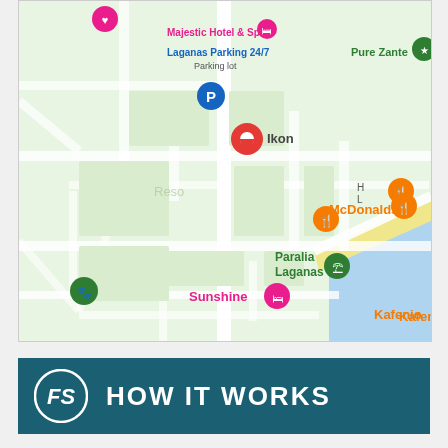[Figure (map): Google Maps screenshot showing Laganas area in Zakynthos, Greece. Points of interest include Majestic Hotel & Spa (pink marker), Laganas Parking 24/7 Parking lot (blue P marker), Ikon (red location pin), Pure Zante (green marker top right), McDonalds (orange restaurant marker), Paralia Laganas (green marker with beach icon), Sunshine (pink hotel marker), Kafenio (orange coffee marker), and another restaurant marker on the right edge. Streets shown in white on light green background. Blue sea/water visible at bottom right. Sandy beach area visible.]
HOW IT WORKS